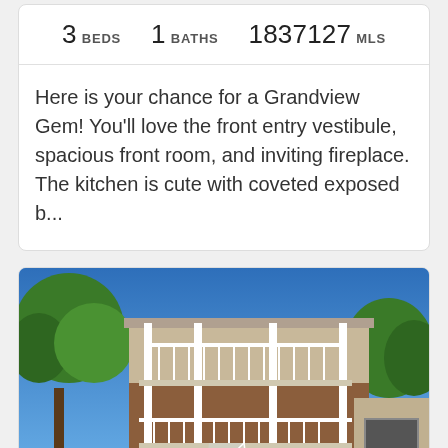| BEDS | BATHS | MLS |
| --- | --- | --- |
| 3 | 1 | 1837127 |
Here is your chance for a Grandview Gem! You'll love the front entry vestibule, spacious front room, and inviting fireplace. The kitchen is cute with coveted exposed b...
[Figure (photo): Exterior photo of a multi-story residential building with white railings, balconies, brick facade, surrounded by trees under a clear blue sky.]